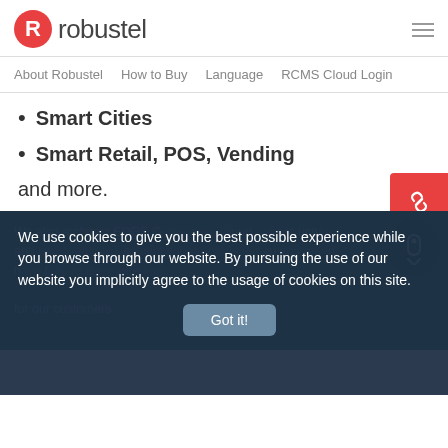robustel
About Robustel  How to Buy  Language  RCMS Cloud Login
Smart Cities
Smart Retail, POS, Vending
and more.
We also architect EDGE Computing, Cloud, Infrastructure and end-to-end IoT solutions that enable our customers to have fully-realised offerings for our customers.
We use cookies to give you the best possible experience while you browse through our website. By pursuing the use of our website you implicitly agree to the usage of cookies on this site.